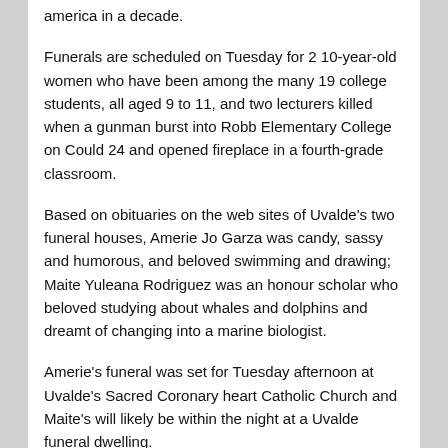america in a decade.
Funerals are scheduled on Tuesday for 2 10-year-old women who have been among the many 19 college students, all aged 9 to 11, and two lecturers killed when a gunman burst into Robb Elementary College on Could 24 and opened fireplace in a fourth-grade classroom.
Based on obituaries on the web sites of Uvalde's two funeral houses, Amerie Jo Garza was candy, sassy and humorous, and beloved swimming and drawing; Maite Yuleana Rodriguez was an honour scholar who beloved studying about whales and dolphins and dreamt of changing into a marine biologist.
Amerie's funeral was set for Tuesday afternoon at Uvalde's Sacred Coronary heart Catholic Church and Maite's will likely be within the night at a Uvalde funeral dwelling.
“Our concentrate on Tuesday is on our households who